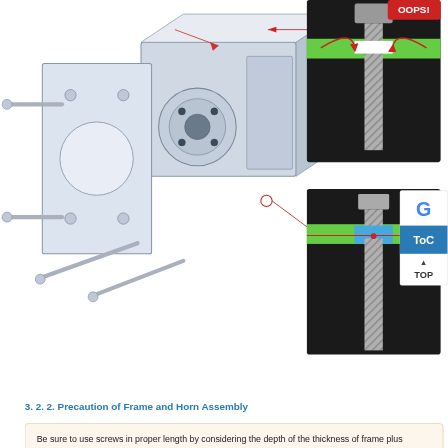[Figure (engineering-diagram): Exploded assembly diagram of a DYNAMIXEL servo motor with frame and spacer ring components labeled. Shows frame label pointing to top of assembly, spacer ring label pointing to a small ring component. Red and blue arrows indicate assembly direction.]
[Figure (engineering-diagram): Two cross-section diagrams showing screw assembly. Top diagram labeled OOPS! shows incorrect screw length too long causing damage. Bottom diagram shows correct assembly with check mark and blue spacer ring visible.]
[Figure (schematic): Navigation UI panel on right side showing Google logo, ToC button, and TOP arrow navigation button.]
3. 2. 2. Precaution of Frame and Horn Assembly
Be sure to use screws in proper length by considering the depth of the thickness of frame plus thickness (T) of DYNAMIXEL horn.
If the length of screw is longer than the depth of them, it may cause a damage to the DYNAMIXEL during work.
[Figure (illustration): Correct assembly illustration with blue check mark icon showing proper screw length with frame and DYNAMIXEL horn.]
[Figure (illustration): Incorrect assembly illustration with red X mark icon showing improper screw length.]
[Figure (other): Website toolbar with video play button, shopping cart icon, ROBOTIS character icon, and GitHub logo.]